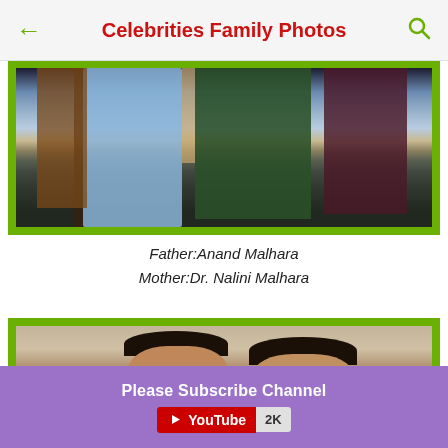Celebrities Family Photos
[Figure (photo): Partial view of people in traditional Indian clothing — blue, green, and dark garments visible]
Father:Anand Malhara
Mother:Dr. Nalini Malhara
[Figure (photo): Two children smiling, photographed against a stone wall background]
Please Subscribe Channel
YouTube 2K